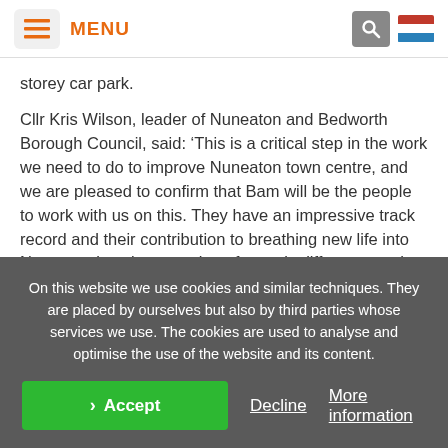MENU
storey car park.
Cllr Kris Wilson, leader of Nuneaton and Bedworth Borough Council, said: ‘This is a critical step in the work we need to do to improve Nuneaton town centre, and we are pleased to confirm that Bam will be the people to work with us on this. They have an impressive track record and their contribution to breathing new life into Nuneaton is going to make a fantastic difference to the
On this website we use cookies and similar techniques. They are placed by ourselves but also by third parties whose services we use. The cookies are used to analyse and optimise the use of the website and its content.
Accept
Decline
More information